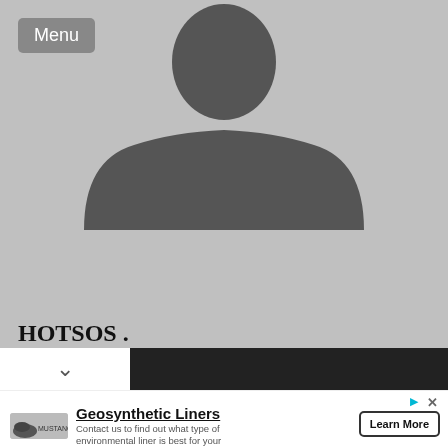[Figure (photo): LinkedIn profile page screenshot showing a generic silhouette avatar on grey background]
HOTSOS .
Dallas/Fort Worth Area
Oracle. Performance. Now.
Information Technology and Services
Geosynthetic Liners
Contact us to find out what type of environmental liner is best for your application. Mustang Extreme
Learn More